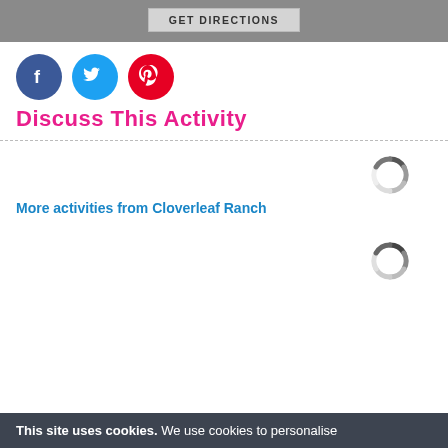[Figure (other): GET DIRECTIONS button on grey background bar]
[Figure (other): Social media icons: Facebook (blue circle), Twitter (light blue circle), Pinterest (red circle)]
Discuss This Activity
More activities from Cloverleaf Ranch
[Figure (other): Loading spinner icon (grey segmented circle)]
[Figure (other): Loading spinner icon (grey segmented circle)]
This site uses cookies. We use cookies to personalise